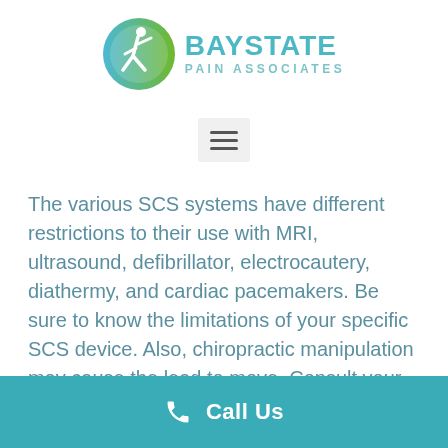[Figure (logo): Baystate Pain Associates logo with circular blue-green and green figure icon, and text BAYSTATE PAIN ASSOCIATES]
[Figure (other): Hamburger menu icon (three horizontal lines) in a light gray rounded rectangle button]
The various SCS systems have different restrictions to their use with MRI, ultrasound, defibrillator, electrocautery, diathermy, and cardiac pacemakers. Be sure to know the limitations of your specific SCS device. Also, chiropractic manipulation may cause the lead to move. Consult your surgeon first.
Call Us